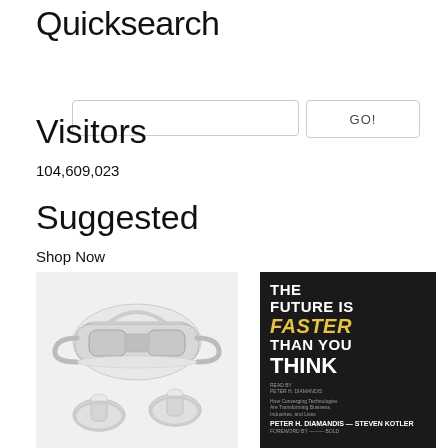Quicksearch
[Figure (screenshot): Search input box and GO! button]
Visitors
104,609,023
Suggested
Shop Now
[Figure (photo): VR headset (Oculus Quest 2) with two controllers on white background]
[Figure (photo): Book cover: THE FUTURE IS FASTER THAN YOU THINK by Peter H. Diamandis and Steven Kotler, black background with yellow italic FASTER text]